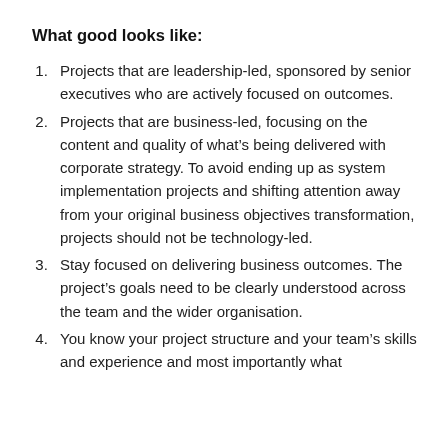What good looks like:
Projects that are leadership-led, sponsored by senior executives who are actively focused on outcomes.
Projects that are business-led, focusing on the content and quality of what’s being delivered with corporate strategy. To avoid ending up as system implementation projects and shifting attention away from your original business objectives transformation, projects should not be technology-led.
Stay focused on delivering business outcomes. The project’s goals need to be clearly understood across the team and the wider organisation.
You know your project structure and your team’s skills and experience and most importantly what